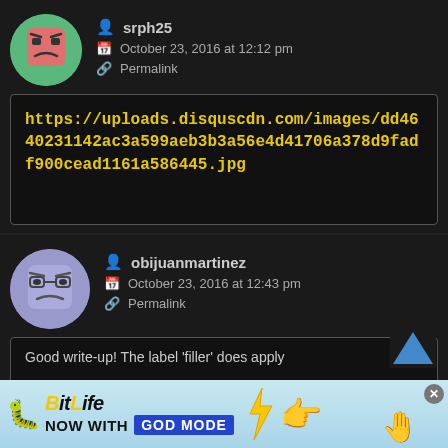[Figure (illustration): Avatar of user srph25: angry pink/red square face cartoon on teal circle background]
srph25
October 23, 2016 at 12:12 pm
Permalink
https://uploads.disquscdn.com/images/dd4640231142ac3a599aeb3b3a56e4d41706a378d9fadf900cead1161a586445.jpg
[Figure (illustration): Avatar of user obijuanmartinez: grumpy blue square face cartoon with glasses on purple circle background]
obijuanmartinez
October 23, 2016 at 12:43 pm
Permalink
Good write-up! The label 'filler' does apply
[Figure (illustration): BitLife advertisement banner: NOW WITH GOD MODE, sperm emoji, lightning bolt, hand pointing emoji]